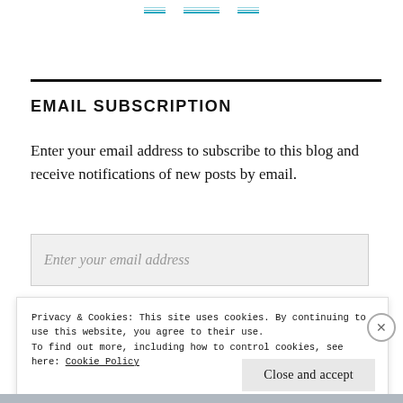[navigation links — partial]
EMAIL SUBSCRIPTION
Enter your email address to subscribe to this blog and receive notifications of new posts by email.
Enter your email address
Privacy & Cookies: This site uses cookies. By continuing to use this website, you agree to their use.
To find out more, including how to control cookies, see here: Cookie Policy
Close and accept